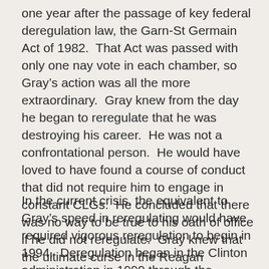one year after the passage of key federal deregulation law, the Garn-St Germain Act of 1982.  That Act was passed with only one nay vote in each chamber, so Gray's action was all the more extraordinary.  Gray knew from the day he began to reregulate that he was destroying his career.  He was not a confrontational person.  He would have loved to have found a course of conduct that did not require him to engage in constant CLGs.  He concluded that there was no way to be true to his oath of office if he did not reregulate.  Gray knew that the ultimate curse in the Reagan administration was to call someone a “reregulator,” but he made that CLG for the nation.
In the current crisis, the equivalent to Gray’s speed in reregulating would have required vigorous reregulation to begin in 1994.  Deregulation began in the Clinton administration in 1999 through the replacement of